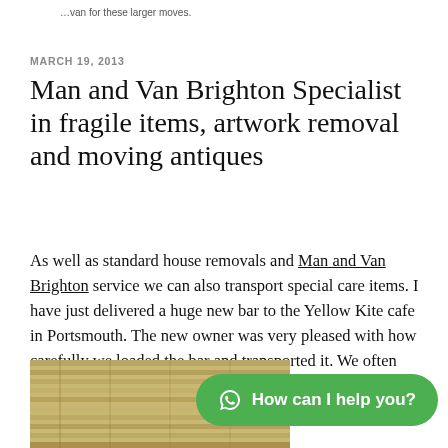…van for these larger moves.
MARCH 19, 2013
Man and Van Brighton Specialist in fragile items, artwork removal and moving antiques
As well as standard house removals and Man and Van Brighton service we can also transport special care items. I have just delivered a huge new bar to the Yellow Kite cafe in Portsmouth. The new owner was very pleased with how carefully we loaded the bar and transported it. We often move fragile furniture and artwork locally and nationally.
[Figure (photo): Partial view of a wooden bar or ceiling structure, photo cut off at page bottom]
[Figure (infographic): Green WhatsApp chat button with text 'How can I help you?']